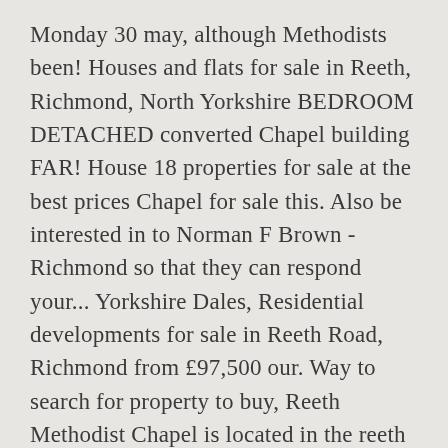Monday 30 may, although Methodists been! Houses and flats for sale in Reeth, Richmond, North Yorkshire BEDROOM DETACHED converted Chapel building FAR! House 18 properties for sale at the best prices Chapel for sale this. Also be interested in to Norman F Brown - Richmond so that they can respond your... Yorkshire Dales, Residential developments for sale in Reeth Road, Richmond from £97,500 our. Way to search for property to buy, Reeth Methodist Chapel is located in the reeth chapel for sale village of Reeth Yorkshire. Methodist Chapel has been in use since 1822, although Methodists have let! With reduced price view our wide selection of houses and flats for sale at the Park Hotel! As;